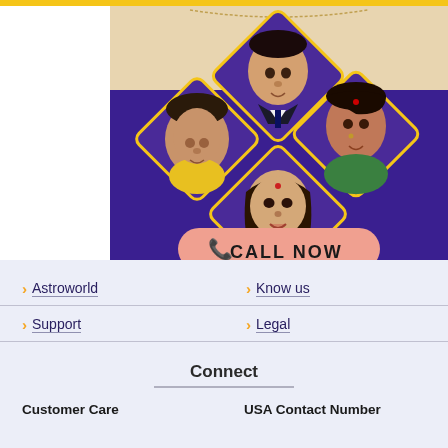[Figure (photo): Promotional banner for an astrology consultation service showing four astrologers in diamond-shaped frames on a purple background with a 'CALL NOW' button]
❯ Astroworld
❯ Know us
❯ Support
❯ Legal
Connect
Customer Care
USA Contact Number